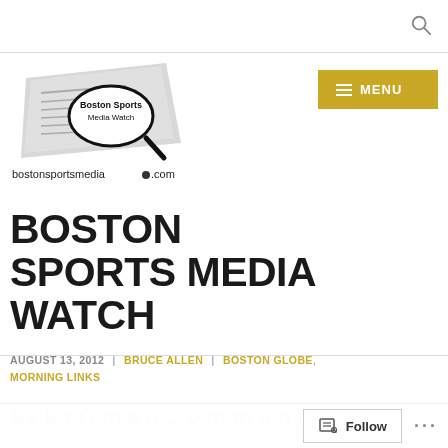[Figure (logo): Boston Sports Media Watch logo with magnifying glass and newspaper, text: bostonsportsmedia.com]
BOSTON SPORTS MEDIA WATCH
AUGUST 13, 2012 | BRUCE ALLEN | BOSTON GLOBE, MORNING LINKS